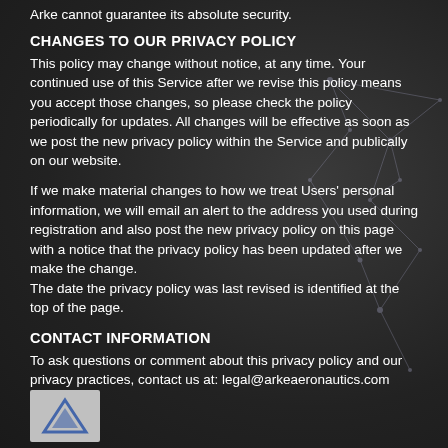Arke cannot guarantee its absolute security.
CHANGES TO OUR PRIVACY POLICY
This policy may change without notice, at any time. Your continued use of this Service after we revise this policy means you accept those changes, so please check the policy periodically for updates. All changes will be effective as soon as we post the new privacy policy within the Service and publically on our website.
If we make material changes to how we treat Users' personal information, we will email an alert to the address you used during registration and also post the new privacy policy on this page with a notice that the privacy policy has been updated after we make the change.
The date the privacy policy was last revised is identified at the top of the page.
CONTACT INFORMATION
To ask questions or comment about this privacy policy and our privacy practices, contact us at: legal@arkeaeronautics.com